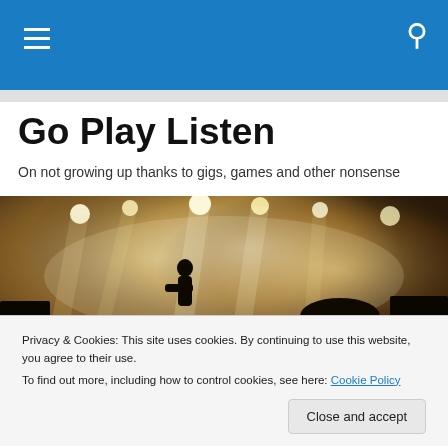Go Play Listen — navigation bar with hamburger menu and search icon
Go Play Listen
On not growing up thanks to gigs, games and other nonsense
[Figure (photo): Concert photo showing band silhouettes on stage with bright stage lights and crowd in foreground, sepia/warm toned]
Privacy & Cookies: This site uses cookies. By continuing to use this website, you agree to their use.
To find out more, including how to control cookies, see here: Cookie Policy
Close and accept
This is the last of the live reviews I've first published over